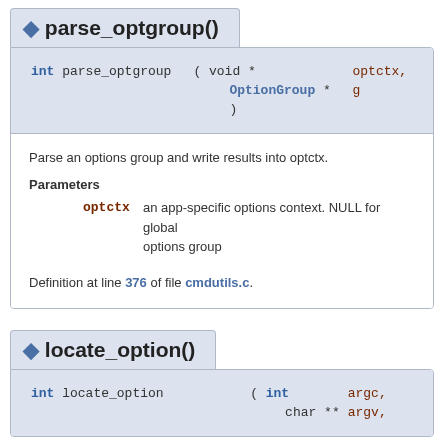◆ parse_optgroup()
int parse_optgroup ( void * optctx, OptionGroup * g )
Parse an options group and write results into optctx.
Parameters
optctx  an app-specific options context. NULL for global options group
Definition at line 376 of file cmdutils.c.
◆ locate_option()
int locate_option ( int argc, char ** argv,